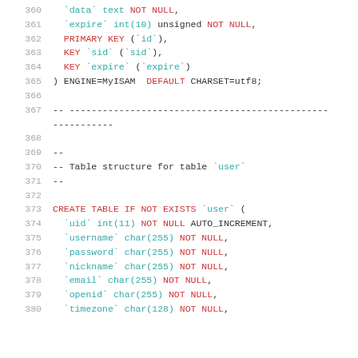SQL code block showing table definition lines 360-380
360: `data` text NOT NULL,
361: `expire` int(10) unsigned NOT NULL,
362: PRIMARY KEY (`id`),
363: KEY `sid` (`sid`),
364: KEY `expire` (`expire`)
365: ) ENGINE=MyISAM DEFAULT CHARSET=utf8;
366: (blank)
367: -- -------------------------------------------------------
368: (blank)
369: --
370: -- Table structure for table `user`
371: --
372: (blank)
373: CREATE TABLE IF NOT EXISTS `user` (
374: `uid` int(11) NOT NULL AUTO_INCREMENT,
375: `username` char(255) NOT NULL,
376: `password` char(255) NOT NULL,
377: `nickname` char(255) NOT NULL,
378: `email` char(255) NOT NULL,
379: `openid` char(255) NOT NULL,
380: `timezone` char(128) NOT NULL,